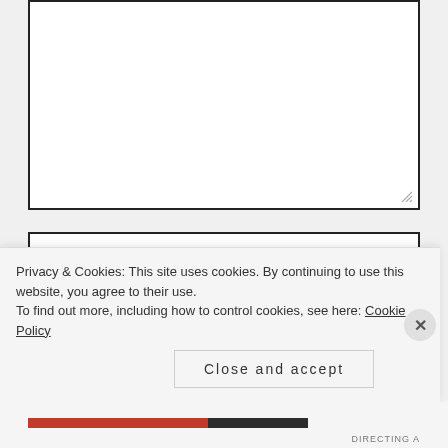[Figure (screenshot): Empty textarea input field with resize handle at bottom right, thick dark border]
NAME *
EMAIL *
Privacy & Cookies: This site uses cookies. By continuing to use this website, you agree to their use.
To find out more, including how to control cookies, see here: Cookie Policy
Close and accept